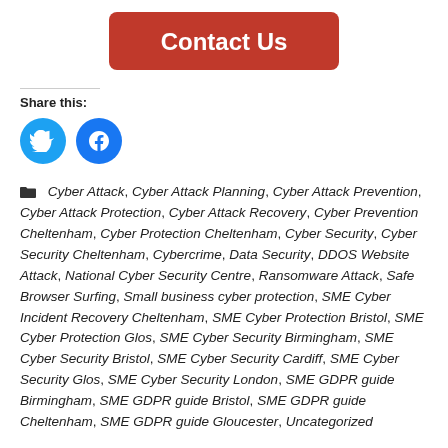[Figure (other): Red rounded rectangle button with white bold text 'Contact Us']
Share this:
[Figure (other): Two circular social media icons: Twitter (cyan/blue) and Facebook (blue)]
Cyber Attack, Cyber Attack Planning, Cyber Attack Prevention, Cyber Attack Protection, Cyber Attack Recovery, Cyber Prevention Cheltenham, Cyber Protection Cheltenham, Cyber Security, Cyber Security Cheltenham, Cybercrime, Data Security, DDOS Website Attack, National Cyber Security Centre, Ransomware Attack, Safe Browser Surfing, Small business cyber protection, SME Cyber Incident Recovery Cheltenham, SME Cyber Protection Bristol, SME Cyber Protection Glos, SME Cyber Security Birmingham, SME Cyber Security Bristol, SME Cyber Security Cardiff, SME Cyber Security Glos, SME Cyber Security London, SME GDPR guide Birmingham, SME GDPR guide Bristol, SME GDPR guide Cheltenham, SME GDPR guide Gloucester, Uncategorized